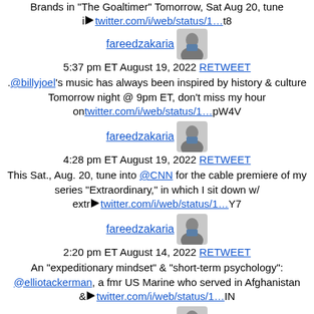Brands in "The Goaltimer" Tomorrow, Sat Aug 20, tune i🔷twitter.com/i/web/status/1…t8
fareedzakaria 5:37 pm ET August 19, 2022 RETWEET .@billyjoel's music has always been inspired by history & culture Tomorrow night @ 9pm ET, don't miss my hour ontwitter.com/i/web/status/1…pW4V
fareedzakaria 4:28 pm ET August 19, 2022 RETWEET This Sat., Aug. 20, tune into @CNN for the cable premiere of my series "Extraordinary," in which I sit down w/ extr🔷twitter.com/i/web/status/1…Y7
fareedzakaria 2:20 pm ET August 14, 2022 RETWEET An "expeditionary mindset" & "short-term psychology": @elliotackerman, a fmr US Marine who served in Afghanistan &🔷twitter.com/i/web/status/1…IN
fareedzakaria 2:15 pm ET August 14, 2022 RETWEET Former Afghan Pres. @ashrafghani on Afghanistan's future—and his: part three of our exclusive interview from